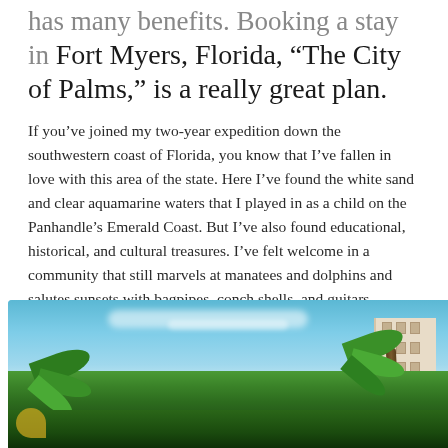has many benefits. Booking a stay in Fort Myers, Florida, “The City of Palms,” is a really great plan.
If you’ve joined my two-year expedition down the southwestern coast of Florida, you know that I’ve fallen in love with this area of the state. Here I’ve found the white sand and clear aquamarine waters that I played in as a child on the Panhandle’s Emerald Coast. But I’ve also found educational, historical, and cultural treasures. I’ve felt welcome in a community that still marvels at manatees and dolphins and salutes sunsets with bagpipes, conch shells, and guitars.
[Figure (photo): Photograph of palm trees against a bright blue sky with a white building visible in the background, showing a tropical Florida scene.]